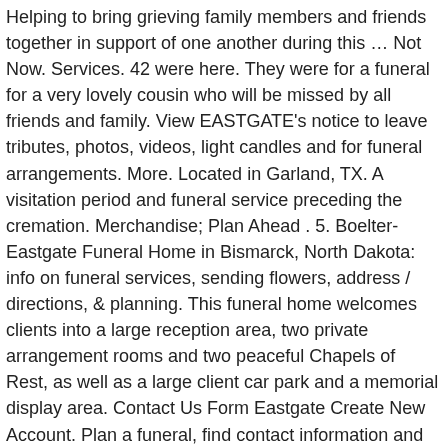Helping to bring grieving family members and friends together in support of one another during this … Not Now. Services. 42 were here. They were for a funeral for a very lovely cousin who will be missed by all friends and family. View EASTGATE's notice to leave tributes, photos, videos, light candles and for funeral arrangements. More. Located in Garland, TX. A visitation period and funeral service preceding the cremation. Merchandise; Plan Ahead . 5. Boelter-Eastgate Funeral Home in Bismarck, North Dakota: info on funeral services, sending flowers, address / directions, & planning. This funeral home welcomes clients into a large reception area, two private arrangement rooms and two peaceful Chapels of Rest, as well as a large client car park and a memorial display area. Contact Us Form Eastgate Create New Account. Plan a funeral, find contact information and more. Plan Ahead | View Obituaries Eastgate Funeral & Cremation Service Loretta Cermak November 25, 1942 - November 22, 2020. Plant Trees. The